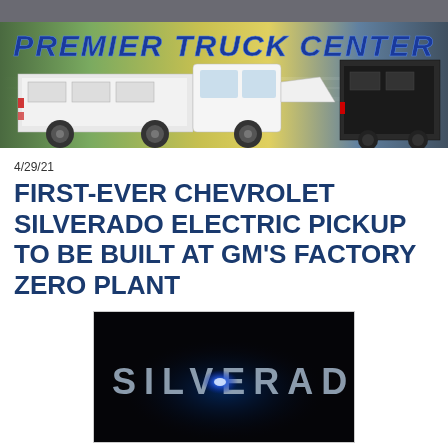[Figure (photo): Premier Truck Center banner with white utility trucks on a colorful gradient background, with bold blue italic text reading PREMIER TRUCK CENTER]
4/29/21
FIRST-EVER CHEVROLET SILVERADO ELECTRIC PICKUP TO BE BUILT AT GM'S FACTORY ZERO PLANT
[Figure (photo): Dark photo showing illuminated SILVERADO lettering with a blue light glow in the center, on a black background]